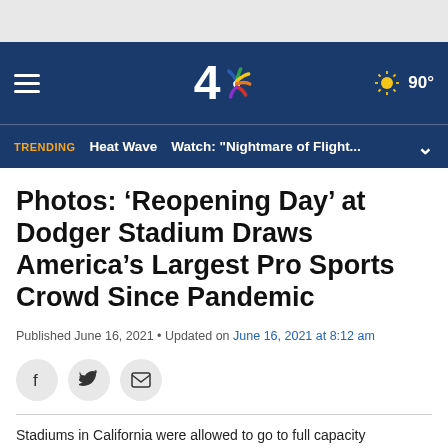[Figure (screenshot): NBC 4 Los Angeles website header navigation bar with hamburger menu, NBC 4 logo, and weather showing 90°F]
TRENDING  Heat Wave  Watch: "Nightmare of Flight...
Photos: 'Reopening Day' at Dodger Stadium Draws America's Largest Pro Sports Crowd Since Pandemic
Published June 16, 2021 • Updated on June 16, 2021 at 8:12 am
[Figure (other): Social sharing buttons: Facebook, Twitter, Email]
Stadiums in California were allowed to go to full capacity